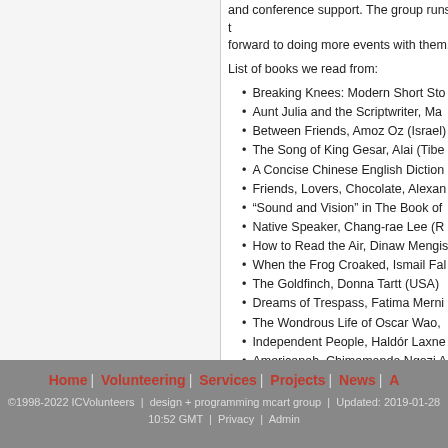and conference support. The group runs t... forward to doing more events with them.
List of books we read from:
Breaking Knees: Modern Short Sto...
Aunt Julia and the Scriptwriter, Mar...
Between Friends, Amoz Oz (Israel)
The Song of King Gesar, Alai (Tibe...
A Concise Chinese English Diction...
Friends, Lovers, Chocolate, Alexan...
"Sound and Vision" in The Book of...
Native Speaker, Chang-rae Lee (R...
How to Read the Air, Dinaw Mengis...
When the Frog Croaked, Ismail Fal...
The Goldfinch, Donna Tartt (USA)
Dreams of Trespass, Fatima Merni...
The Wondrous Life of Oscar Wao, ...
Independent People, Haldór Laxne...
Americanah, Chimamanda Ngozi A...
Night Vision, Kendal Hippolyte (St....
See http://suroora.blog.com/
Home | Volunteering | Services | Projects | News | ... ©1998-2022 ICVolunteers | design + programming mcart group | Updated: 2019-01-28 10:52 GMT | Privacy | Admin